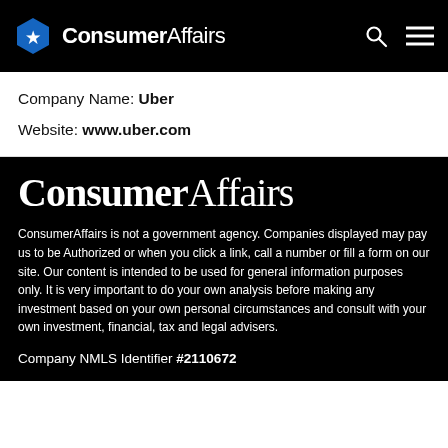ConsumerAffairs
Company Name: Uber
Website: www.uber.com
[Figure (logo): ConsumerAffairs large white logo on black background]
ConsumerAffairs is not a government agency. Companies displayed may pay us to be Authorized or when you click a link, call a number or fill a form on our site. Our content is intended to be used for general information purposes only. It is very important to do your own analysis before making any investment based on your own personal circumstances and consult with your own investment, financial, tax and legal advisers.
Company NMLS Identifier #2110672